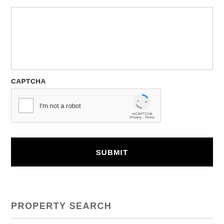[Figure (screenshot): Empty text area input box with border]
CAPTCHA
[Figure (screenshot): reCAPTCHA widget with checkbox labeled 'I'm not a robot' and reCAPTCHA branding with Privacy and Terms links]
SUBMIT
PROPERTY SEARCH